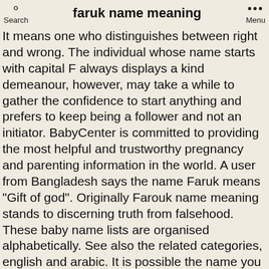faruk name meaning
It means one who distinguishes between right and wrong. The individual whose name starts with capital F always displays a kind demeanour, however, may take a while to gather the confidence to start anything and prefers to keep being a follower and not an initiator. BabyCenter is committed to providing the most helpful and trustworthy pregnancy and parenting information in the world. A user from Bangladesh says the name Faruk means "Gift of god". Originally Farouk name meaning stands to discerning truth from falsehood. These baby name lists are organised alphabetically. See also the related categories, english and arabic. It is possible the name you are searching has less than five occurrences per year. Faruk Name Meaning. Faruq is a name that's been used primarily by parents who are considering baby names for boys. What does Faruq mean? Please note that SearchTruth.com cannot guarantee the accuracy of the meanings of names listed on this site. Historically, surnames evolved as a way to sort people into groups - by occupation, place of origin, clan affiliation, patronage